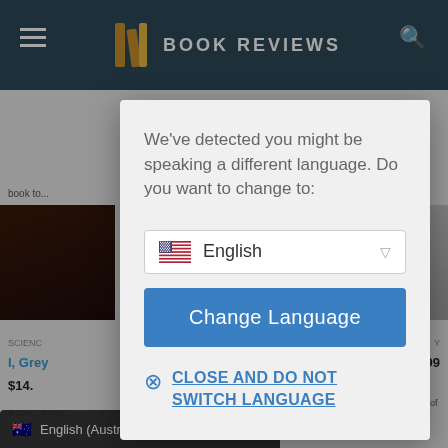[Figure (screenshot): Book reviews website screenshot showing navigation header with logo and hamburger menu, book covers on left and right sides, and page content in background]
[Figure (screenshot): Language selection modal dialog overlaying the book reviews website, with dropdown showing English and US flag, a blue 'Change Language' button, and a 'Close and Do Not Switch Language' link]
We've detected you might be speaking a different language. Do you want to change to:
English
Change Language
CLOSE AND DO NOT SWITCH LANGUAGE
English (Australia)